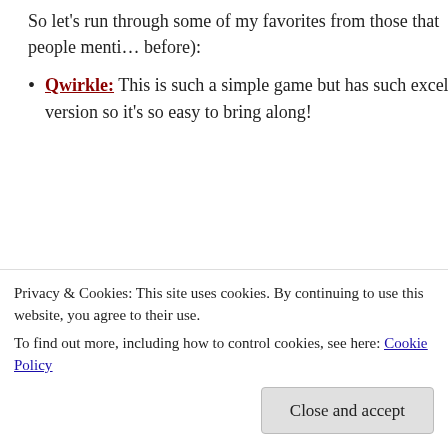So let's run through some of my favorites from those that people mentioned before):
Qwirkle: This is such a simple game but has such excellent tactics. I have the travel version so it's so easy to bring along!
[Figure (photo): Partially loaded image placeholder with small green mountain/landscape icon in top-left corner]
Dixit: It's like Balderdash without the fiddlyness and with beautiful cards. Can you make up a story? Then try out this game. Plus, it can play up to 12 players so know one will be left out at your Christmas gathering!
Ticket to Ride: A classic gateway game renowned for simplicity and...
Privacy & Cookies: This site uses cookies. By continuing to use this website, you agree to their use.
To find out more, including how to control cookies, see here: Cookie Policy
Close and accept